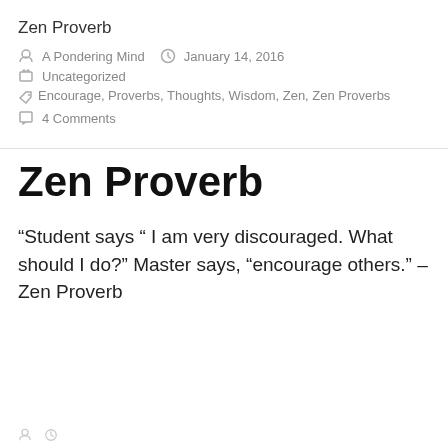Zen Proverb
A Pondering Mind   January 14, 2016
Uncategorized
Encourage, Proverbs, Thoughts, Wisdom, Zen, Zen Proverbs
4 Comments
Zen Proverb
“Student says “ I am very discouraged. What should I do?” Master says, “encourage others.” – Zen Proverb